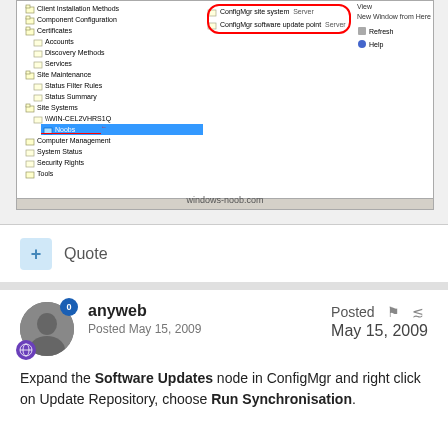[Figure (screenshot): Windows Configuration Manager console screenshot showing tree navigation panel with Software Updates node, middle panel with ConfigMgr site systems and ConfigMgr software update point highlighted in red circle, and right-click context panel. Watermark 'windows-noob.com' at bottom.]
+ Quote
anyweb
Posted May 15, 2009
Posted May 15, 2009
Expand the Software Updates node in ConfigMgr and right click on Update Repository, choose Run Synchronisation.